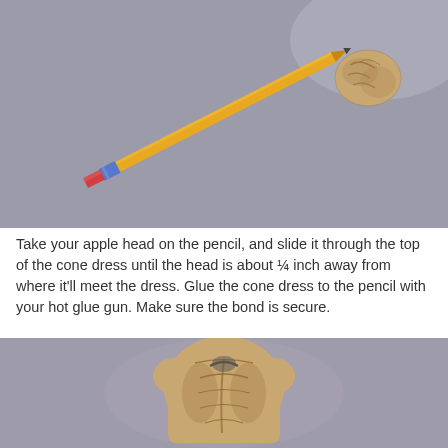[Figure (photo): A yellow pencil with a dried apple head doll on top (the apple head sits at the top/eraser end), photographed diagonally on a gray background. The apple head is small, tan/brown and wrinkled. The pencil has a pink eraser with a blue metal ferrule.]
Take your apple head on the pencil, and slide it through the top of the cone dress until the head is about ¼ inch away from where it'll meet the dress. Glue the cone dress to the pencil with your hot glue gun. Make sure the bond is secure.
[Figure (photo): A close-up photograph of a dried apple head doll figure (just the torso/head portion) showing the wrinkled, shriveled apple form, photographed against a pale gray-purple background.]